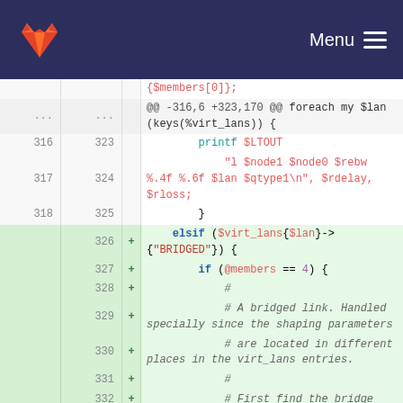[Figure (screenshot): GitLab navigation bar with orange/red fox logo on left and Menu hamburger icon on right, dark navy background]
Code diff view showing lines 316-332 of a Perl script with added lines (326-332) highlighted in green. Content includes printf statements, elsif conditions checking $virt_lans{$lan}->{"BRIDGED"}, if (@members == 4), and comments about bridged links.